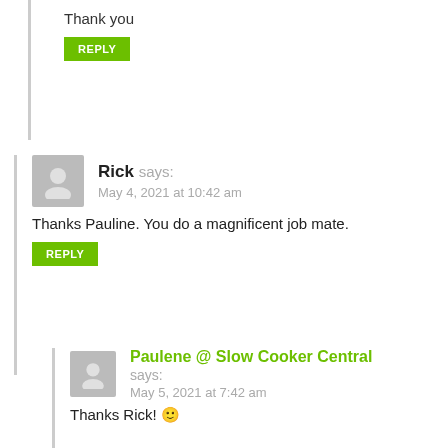Thank you
REPLY
Rick says: May 4, 2021 at 10:42 am
Thanks Pauline. You do a magnificent job mate.
REPLY
Paulene @ Slow Cooker Central says: May 5, 2021 at 7:42 am
Thanks Rick! 🙂